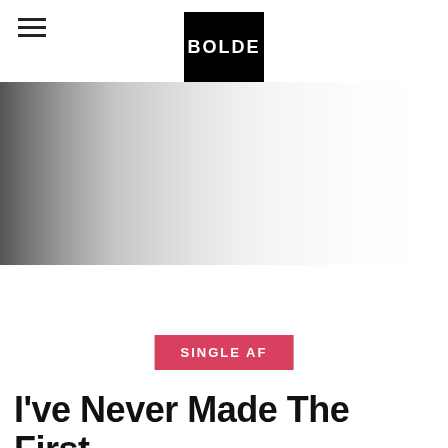BOLDE
[Figure (photo): Hero image with dark gradient fading from dark on the left to white on the right, partially visible at top of page]
SINGLE AF
I've Never Made The First